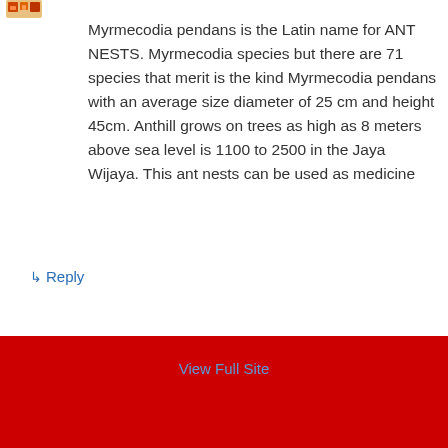[Figure (other): Small avatar/icon image in orange-red tones at top left]
Myrmecodia pendans is the Latin name for ANT NESTS. Myrmecodia species but there are 71 species that merit is the kind Myrmecodia pendans with an average size diameter of 25 cm and height 45cm. Anthill grows on trees as high as 8 meters above sea level is 1100 to 2500 in the Jaya Wijaya. This ant nests can be used as medicine
↳ Reply
View Full Site